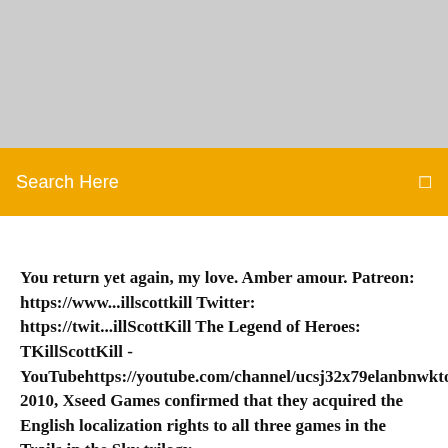[Figure (other): Gray banner/placeholder image area at the top of the page]
Search Here
You return yet again, my love. Amber amour. Patreon: https://www...illscottkill Twitter: https://twit...illScottKill The Legend of Heroes: TKillScottKill - YouTubehttps://youtube.com/channel/ucsj32x79elanbnwktoaqIn 2010, Xseed Games confirmed that they acquired the English localization rights to all three games in the Trails in the Sky trilogy.